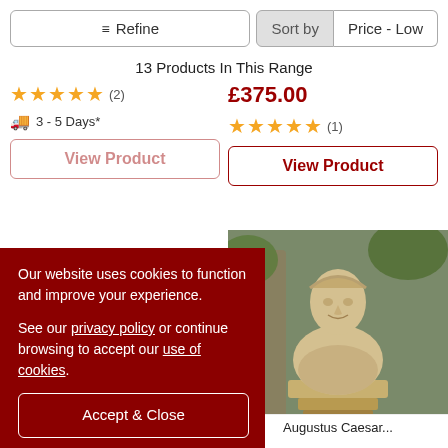≡ Refine | Sort by | Price - Low
13 Products In This Range
★★★★★ (2)
🚚 3 - 5 Days*
£375.00
★★★★★ (1)
View Product
[Figure (photo): Roman bust sculpture (Augustus Caesar style) on a pedestal, photographed outdoors with classical columns in background]
Our website uses cookies to function and improve your experience.

See our privacy policy or continue browsing to accept our use of cookies.
Accept & Close